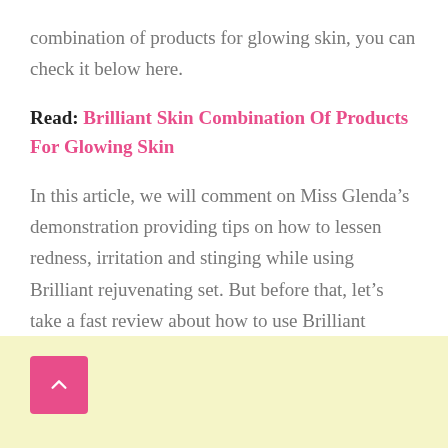combination of products for glowing skin, you can check it below here.
Read: Brilliant Skin Combination Of Products For Glowing Skin
In this article, we will comment on Miss Glenda’s demonstration providing tips on how to lessen redness, irritation and stinging while using Brilliant rejuvenating set. But before that, let’s take a fast review about how to use Brilliant rejuvenating set.